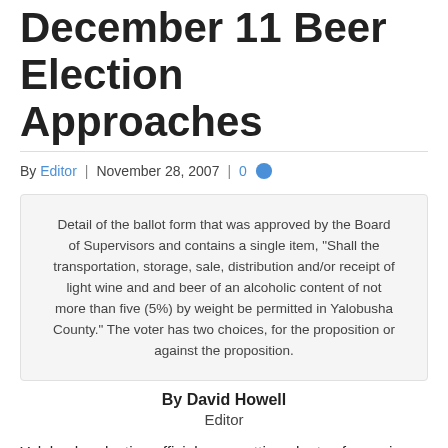December 11 Beer Election Approaches
By Editor | November 28, 2007 | 0
Detail of the ballot form that was approved by the Board of Supervisors and contains a single item, “Shall the transportation, storage, sale, distribution and/or receipt of light wine and and beer of an alcoholic content of not more than five (5%) by weight be permitted in Yalobusha County.” The voter has two choices, for the proposition or against the proposition.
By David Howell
Editor
Yalobusha election officials are getting plenty of experience as the fourth election day this year is fast approaching.